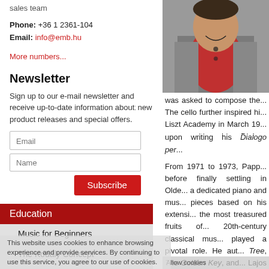sales team
Phone: +36 1 2361-104
Email: info@emb.hu
More numbers...
Newsletter
Sign up to our e-mail newsletter and receive up-to-date information about new product releases and special offers.
Education
Music for Beginners
The Kodály Concept
Lajos Papp
This website uses cookies to enhance browsing experience and provide services. By continuing to use this service, you agree to our use of cookies.
[Figure (photo): Portrait photo of a man in a red shirt and grey cardigan]
was asked to compose the... The cello further inspired hi... Liszt Academy in March 19... upon writing his Dialogo per...
From 1971 to 1973, Papp... before finally settling in Olde... a dedicated piano and mus... pieces based on his extensi... the most treasured fruits of... 20th-century classical mus... played a pivotal role. He aut... Tree, The Golden Key, and... Lajos Papp's popularity and... music competitions named a...